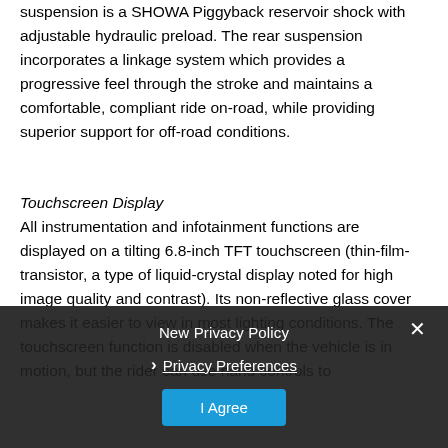suspension is a SHOWA Piggyback reservoir shock with adjustable hydraulic preload. The rear suspension incorporates a linkage system which provides a progressive feel through the stroke and maintains a comfortable, compliant ride on-road, while providing superior support for off-road conditions.
Touchscreen Display
All instrumentation and infotainment functions are displayed on a tilting 6.8-inch TFT touchscreen (thin-film-transistor, a type of liquid-crystal display noted for high image quality and contrast). Its non-reflective glass cover makes it easier to view in most lighting conditions. The touchscreen function is disabled when the vehicle is in motion, but the rider can use hand controls to